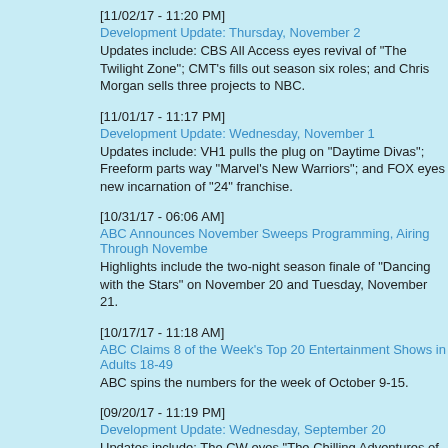[11/02/17 - 11:20 PM]
Development Update: Thursday, November 2
Updates include: CBS All Access eyes revival of "The Twilight Zone"; CMT's fills out season six roles; and Chris Morgan sells three projects to NBC.
[11/01/17 - 11:17 PM]
Development Update: Wednesday, November 1
Updates include: VH1 pulls the plug on "Daytime Divas"; Freeform parts way "Marvel's New Warriors"; and FOX eyes new incarnation of "24" franchise.
[10/31/17 - 06:06 AM]
ABC Announces November Sweeps Programming, Airing Through Novembe
Highlights include the two-night season finale of "Dancing with the Stars" on November 20 and Tuesday, November 21.
[10/17/17 - 11:18 AM]
ABC Claims 8 of the Week's Top 20 Entertainment Shows in Adults 18-49
ABC spins the numbers for the week of October 9-15.
[09/20/17 - 11:19 PM]
Development Update: Wednesday, September 20
Updates include: The CW eyes "The Chilling Adventures of Sabrina" from "R team; Sam Waterston to drop by "Law & Order: SVU"; and Damon Lindelof's gets pilot order at HBO.
[09/08/17 - 11:45 PM]
Development Update: Friday, September 8
Updates include: Amazon unveils five new projects, including two series ord